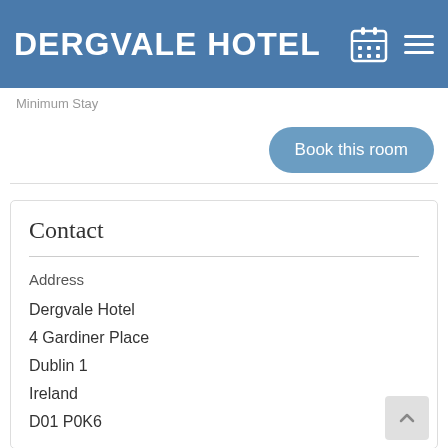DERGVALE HOTEL
Minimum Stay
Book this room
Contact
Address
Dergvale Hotel
4 Gardiner Place
Dublin 1
Ireland
D01 P0K6